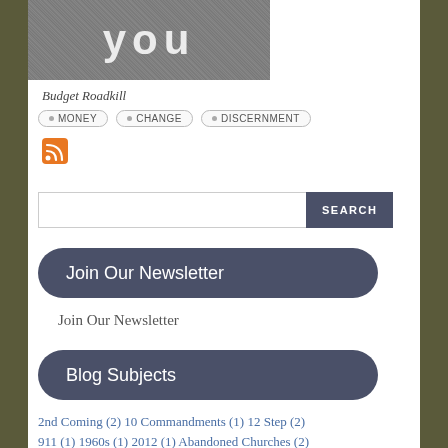[Figure (photo): Asphalt pavement with 'you' painted in white letters]
Budget Roadkill
MONEY  CHANGE  DISCERNMENT
[Figure (other): RSS feed icon (orange square with white wifi signal lines)]
SEARCH
Join Our Newsletter
Join Our Newsletter
Blog Subjects
2nd Coming (2) 10 Commandments (1) 12 Step (2) 911 (1) 1960s (1) 2012 (1) Abandoned Churches (2)